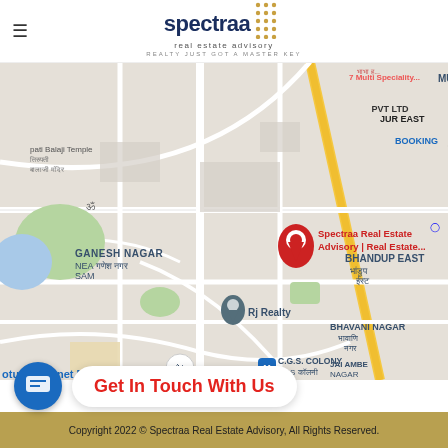[Figure (logo): Spectraa Real Estate Advisory logo with dot-grid graphic and tagline 'REALTY JUST GOT A MASTER KEY']
[Figure (map): Google Maps screenshot showing location of Spectraa Real Estate Advisory in Mumbai, India. Map shows areas including Ganesh Nagar, Bhandup East, Bhavani Nagar, Jai Ambe Nagar, C.G.S. Colony, Sai Nagar, Neptune Magnet Mall, Runwal Forests, Kanjurmarg, and a red pin marker labeled 'Spectraa Real Estate Advisory | Real Estate...' with Rj Realty also marked.]
Get In Touch With Us
Copyright 2022 © Spectraa Real Estate Advisory, All Rights Reserved.